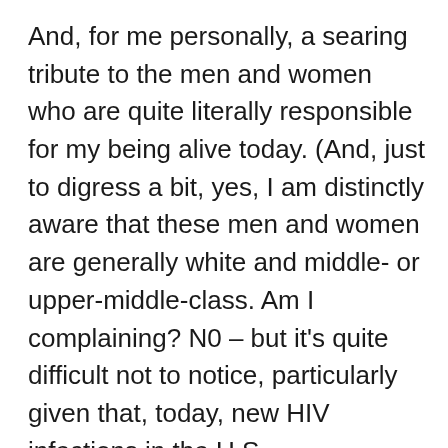And, for me personally, a searing tribute to the men and women who are quite literally responsible for my being alive today. (And, just to digress a bit, yes, I am distinctly aware that these men and women are generally white and middle- or upper-middle-class. Am I complaining? N0 – but it's quite difficult not to notice, particularly given that, today, new HIV infections in the U.S. disproportionately affect African-Americans and Latinos. Oh, and as long as I'm digressing, my title for this post originally had a typo and was Hot to Survive a Plague – which is kinda funny enough to have left as-is, but then kinda not so much. Is there